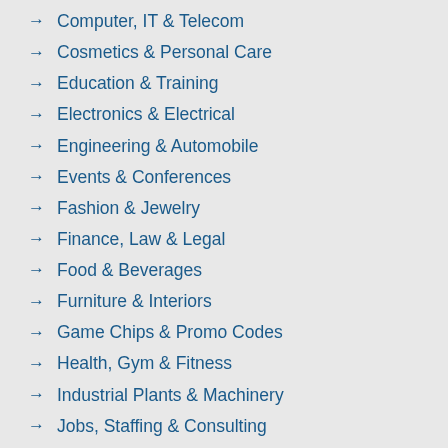Computer, IT & Telecom
Cosmetics & Personal Care
Education & Training
Electronics & Electrical
Engineering & Automobile
Events & Conferences
Fashion & Jewelry
Finance, Law & Legal
Food & Beverages
Furniture & Interiors
Game Chips & Promo Codes
Health, Gym & Fitness
Industrial Plants & Machinery
Jobs, Staffing & Consulting
Lifestyle & Entertainment
Loan & Insurance
Marble, Granite & Stones
News & Online Services